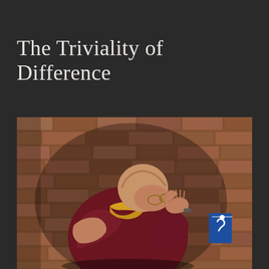The Triviality of Difference
[Figure (photo): A Buddhist monk (the Dalai Lama) bowing with hands pressed together in a prayer gesture, wearing dark red/maroon robes with a yellow trim, in front of a brick wall background. A blue sign is partially visible in the background.]